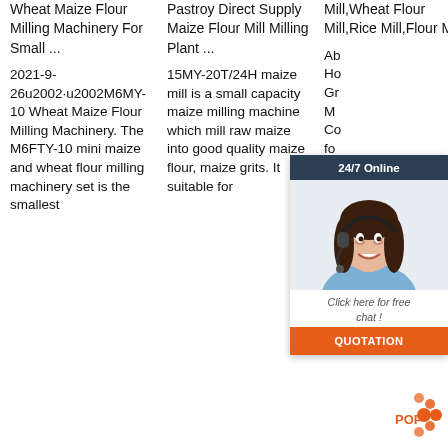Wheat Maize Flour Milling Machinery For Small ...
Pastroy Direct Supply Maize Flour Mill Milling Plant ...
Mill,Wheat Flour Mill,Rice Mill,Flour M...
2021-9-26u2002·u2002M6MY-10 Wheat Maize Flour Milling Machinery. The M6FTY-10 mini maize and wheat flour milling machinery set is the smallest
15MY-20T/24H maize mill is a small capacity maize milling machine which mill raw maize into good quality maize flour, maize grits. It suitable for
Ab Ho Gr M Co fo 20 intergrated modern company of project design, machinery
[Figure (infographic): Customer service chat widget with agent photo, '24/7 Online' header, 'Click here for free chat!' text, and orange QUOTATION button]
[Figure (logo): POP brand logo with orange dots arranged in a triangle/circle pattern and the word POP]